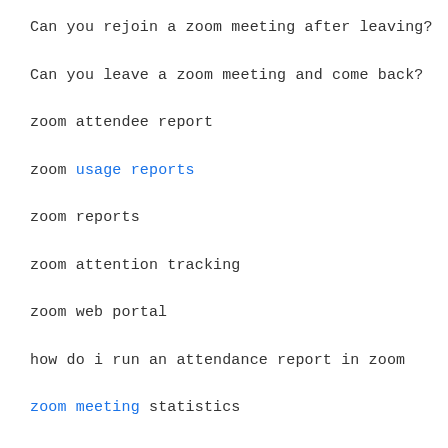Can you rejoin a zoom meeting after leaving?
Can you leave a zoom meeting and come back?
zoom attendee report
zoom usage reports
zoom reports
zoom attention tracking
zoom web portal
how do i run an attendance report in zoom
zoom meeting statistics